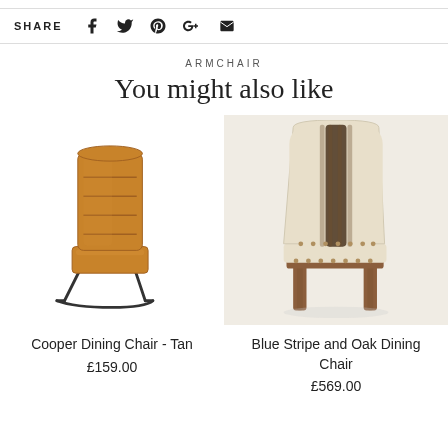SHARE [social icons: Facebook, Twitter, Pinterest, Google+, Email]
ARMCHAIR
You might also like
[Figure (photo): Cooper Dining Chair in tan leather with black metal sled base]
Cooper Dining Chair - Tan
£159.00
[Figure (photo): Blue Stripe and Oak Dining Chair with beige upholstery, blue stripe detail, and wooden legs]
Blue Stripe and Oak Dining Chair
£569.00